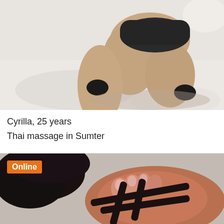[Figure (photo): Photo of a person kneeling on a white bed, wearing dark underwear, upper body cropped out, legs and lower body visible]
Cyrilla, 25 years
Thai massage in Sumter
[Figure (photo): Photo showing a foot wearing dark strappy sandals, on a light textured surface, with Online badge overlay]